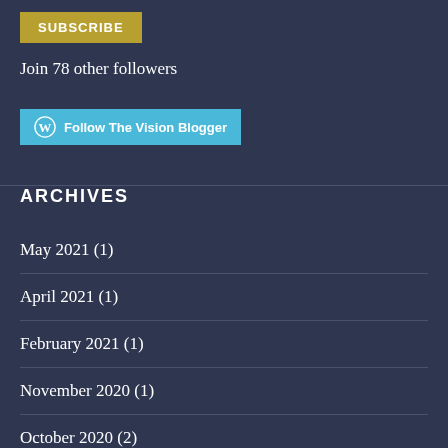[Figure (other): SUBSCRIBE button with golden/olive background color]
Join 78 other followers
[Figure (other): Follow The Vision Blogger button with WordPress logo icon and cyan/teal background]
ARCHIVES
May 2021 (1)
April 2021 (1)
February 2021 (1)
November 2020 (1)
October 2020 (2)